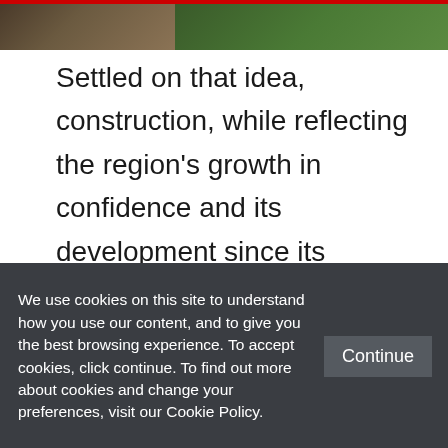[Figure (photo): Two partially visible photos at the top of the page: left shows a brownish/earthy scene, right shows a green outdoor scene]
Settled on that idea, construction, while reflecting  the region's growth in confidence and its development since its constitutional autonomy since 2003, is never just passive or neutral. In this space, buildings become bodies that represent and carry the social and historical context of their environment. They are physical symbols of the circumstances that formed them, or that use
We use cookies on this site to understand how you use our content, and to give you the best browsing experience. To accept cookies, click continue. To find out more about cookies and change your preferences, visit our Cookie Policy.